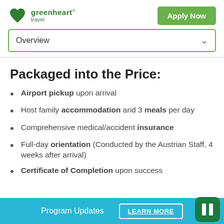[Figure (logo): Greenheart Travel logo with green heart icon and brand name]
Apply Now
Overview
Packaged into the Price:
Airport pickup upon arrival
Host family accommodation and 3 meals per day
Comprehensive medical/accident insurance
Full-day orientation (Conducted by the Austrian Staff, 4 weeks after arrival)
Certificate of Completion upon success
Program Updates   LEARN MORE